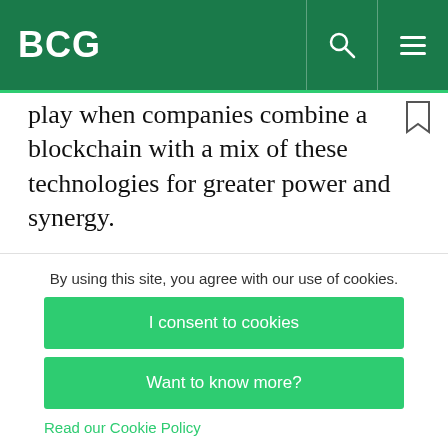BCG
play when companies combine a blockchain with a mix of these technologies for greater power and synergy.
As we approach that more decentralized era—one of rapid production responsiveness in which a
By using this site, you agree with our use of cookies.
I consent to cookies
Want to know more?
Read our Cookie Policy